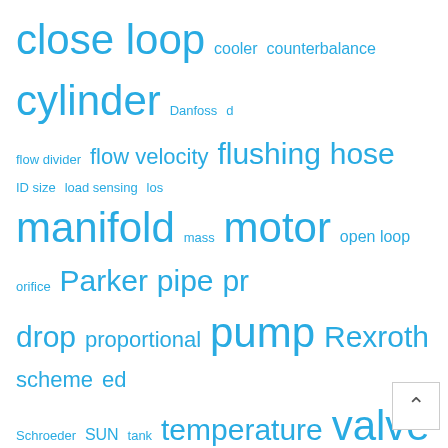close loop cooler counterbalance cylinder Danfoss d flow divider flow velocity flushing hose ID size load sensing los manifold mass motor open loop orifice Parker pipe pr drop proportional pump Rexroth scheme ed Schroeder SUN tank temperature valve viscosity Viscosit Weight
SUBSCRIBE FOR NEW POSTS
Subscribe to get short notifications by E-mail about new posts at the b
Your Name*
Your E-mail*
Subscribe